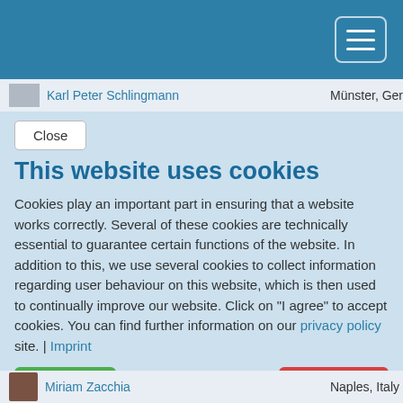[Figure (screenshot): Blue navigation header bar with hamburger menu button (three horizontal lines) in top right corner]
Karl Peter Schlingmann   Münster, Ger
Close
This website uses cookies
Cookies play an important part in ensuring that a website works correctly. Several of these cookies are technically essential to guarantee certain functions of the website. In addition to this, we use several cookies to collect information regarding user behaviour on this website, which is then used to continually improve our website. Click on "I agree" to accept cookies. You can find further information on our privacy policy site. | Imprint
I AGREE
I REFUSE
Miriam Zacchia   Naples, Italy